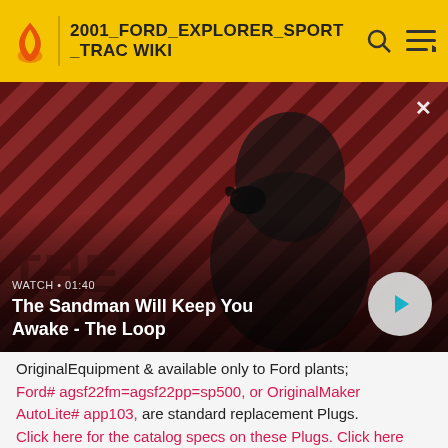2001_FORD_EXPLORER_SPORT_TRAC WIKI
[Figure (screenshot): Video thumbnail showing a dark-clad figure with a raven on shoulder against red and black diagonal striped background. Text overlay: WATCH • 01:40 / The Sandman Will Keep You Awake - The Loop. Play button on right.]
OriginalEquipment & available only to Ford plants; Ford# agsf22fm=agsf22pp=sp500, or OriginalMaker AutoLite# app103, are standard replacement Plugs. Click here for the catalog specs on these Plugs. Click here for a chart diagnosing various Plug conditions.